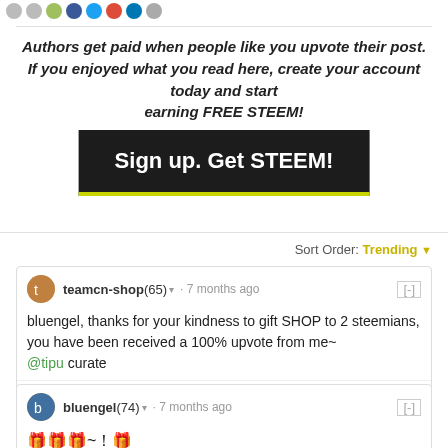[social share icons row]
Authors get paid when people like you upvote their post. If you enjoyed what you read here, create your account today and start earning FREE STEEM!
[Figure (other): Dark button with text 'Sign up. Get STEEM!' with yellow-green bottom border]
Sort Order: Trending
teamcn-shop (65) · 7 months ago [-]
bluengel, thanks for your kindness to gift SHOP to 2 steemians, you have been received a 100% upvote from me~
@tipu curate
0.00 ZZAN
bluengel (74) · 7 months ago [-]
🎁🎁🎁~！🎁